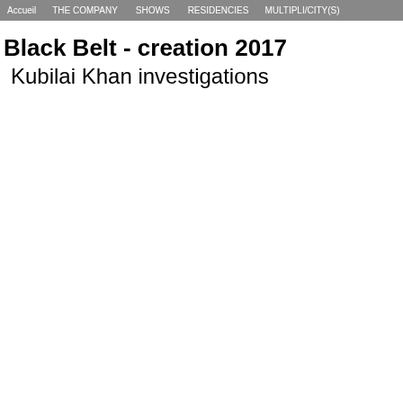Accueil | THE COMPANY | SHOWS | RESIDENCIES | MULTIPLI/CITY(S)
Black Belt - creation 2017
Kubilai Khan investigations